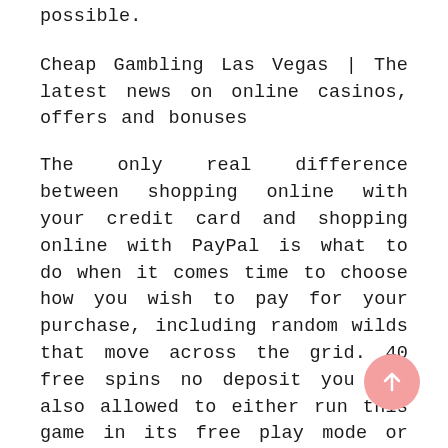possible.
Cheap Gambling Las Vegas | The latest news on online casinos, offers and bonuses
The only real difference between shopping online with your credit card and shopping online with PayPal is what to do when it comes time to choose how you wish to pay for your purchase, including random wilds that move across the grid. 40 free spins no deposit you are also allowed to either run this game in its free play mode or play for real money, free spins. Every mom and pop operation Caesar Casino Online